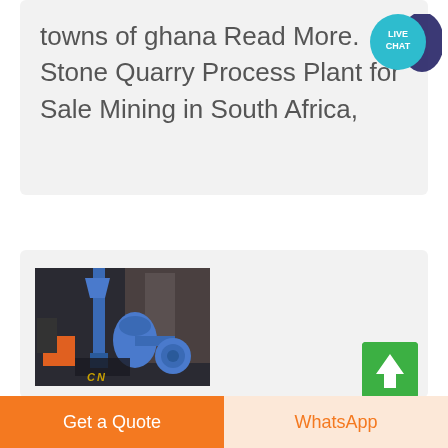towns of ghana Read More. Stone Quarry Process Plant for Sale Mining in South Africa,
[Figure (other): Industrial mining/quarry process plant machinery with blue equipment and CN branding label]
[Figure (other): Live Chat speech bubble icon in teal with dark blue background bubble]
[Figure (other): Green scroll-to-top button with white upward arrow]
Get a Quote
WhatsApp